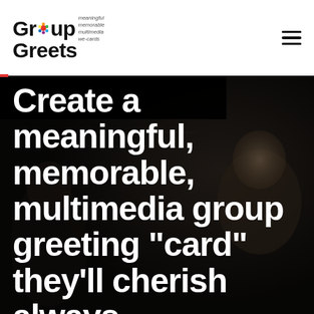[Figure (logo): Group Greets logo with colorful dot replacing the 'o' in Group, bold black text, and italic tagline: meaningful, memorable, multimedia, we-cards]
Create a meaningful, memorable, multimedia group greeting "card" they'll cherish always
A brand new kind of group "ecard" powered by your group's media
[Figure (photo): Dark background photo of people smiling, used as hero image behind the headline text]